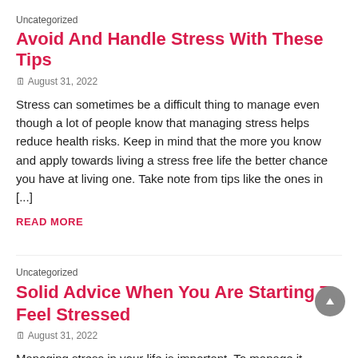Uncategorized
Avoid And Handle Stress With These Tips
🗓 August 31, 2022
Stress can sometimes be a difficult thing to manage even though a lot of people know that managing stress helps reduce health risks. Keep in mind that the more you know and apply towards living a stress free life the better chance you have at living one. Take note from tips like the ones in [...]
READ MORE
Uncategorized
Solid Advice When You Are Starting To Feel Stressed
🗓 August 31, 2022
Managing stress in your life is important. To manage it effectively you need good sources of information. Relaxations techniques are helpful in relieving the